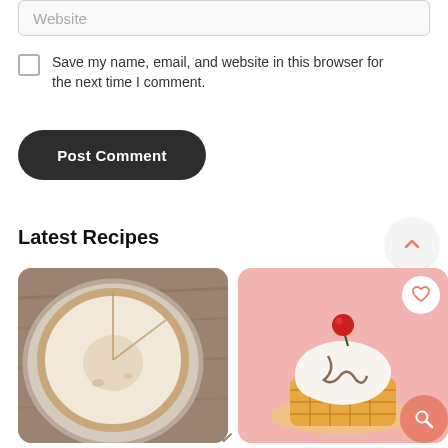[Figure (screenshot): Website text input field (form element) with placeholder text 'Website']
Save my name, email, and website in this browser for the next time I comment.
[Figure (screenshot): Dark rounded 'Post Comment' button]
Latest Recipes
[Figure (screenshot): Up-chevron/scroll-to-top button (white circle with coral chevron up icon)]
[Figure (photo): Top-down photo of a cheesecake or pie on a wooden surface]
[Figure (photo): Photo of a dessert (waffle/sundae with whipped cream and cherry) on a pink background with heart and search overlay buttons]